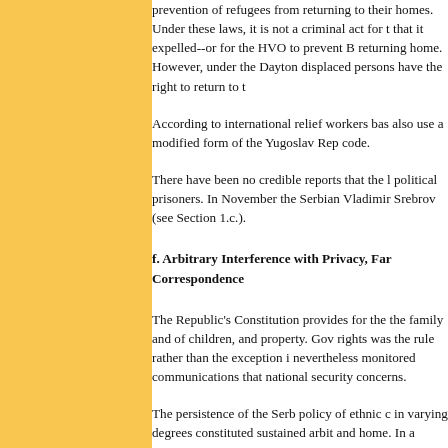prevention of refugees from returning to their homes. Under these laws, it is not a criminal act for the RS to hold territory that it expelled--or for the HVO to prevent Bosniak Muslims from returning home. However, under the Dayton Accords, all displaced persons have the right to return to their homes.
According to international relief workers based in the RS, courts also use a modified form of the Yugoslav Republic's criminal code.
There have been no credible reports that the RS holds political prisoners. In November the Serbian authorities released Vladimir Srebrov (see Section 1.c.).
f. Arbitrary Interference with Privacy, Family, Home, and Correspondence
The Republic's Constitution provides for the inviolability of the family and of children, and property. Government respect for rights was the rule rather than the exception in the RS. Police nevertheless monitored communications that were relevant to national security concerns.
The persistence of the Serb policy of ethnic cleansing, which in varying degrees constituted sustained arbitrary interference and home. In a formal communication to the